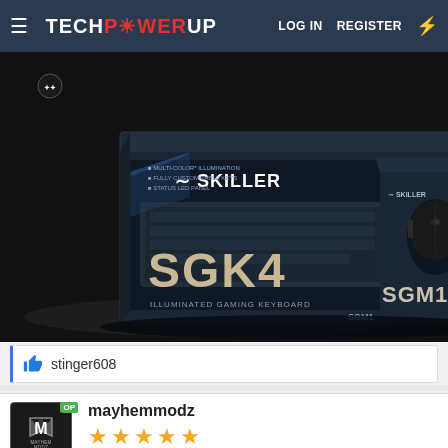TECHPOWERUP  LOG IN  REGISTER
[Figure (photo): Product photo of Sharkoon Skiller SGK4 keyboard and SGM1 mouse boxes on a dark background]
stinger608
mayhemmodz
[Figure (other): 5 gold star rating]